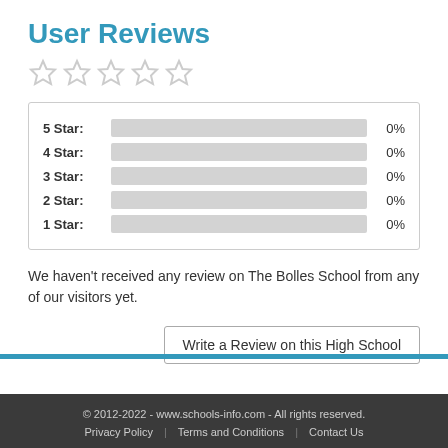User Reviews
[Figure (other): Five empty star rating icons displayed in a row]
[Figure (bar-chart): Star ratings distribution]
We haven't received any review on The Bolles School from any of our visitors yet.
Write a Review on this High School
© 2012-2022 - www.schools-info.com - All rights reserved. Privacy Policy | Terms and Conditions | Contact Us